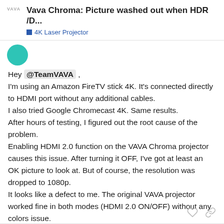Vava Chroma: Picture washed out when HDR /D... | 4K Laser Projector
[Figure (illustration): Avatar circle with teal/green color]
Hey @TeamVAVA ,
I'm using an Amazon FireTV stick 4K. It's connected directly to HDMI port without any additional cables.
I also tried Google Chromecast 4K. Same results.
After hours of testing, I figured out the root cause of the problem.
Enabling HDMI 2.0 function on the VAVA Chroma projector causes this issue. After turning it OFF, I've got at least an OK picture to look at. But of course, the resolution was dropped to 1080p.
It looks like a defect to me. The original VAVA projector worked fine in both modes (HDMI 2.0 ON/OFF) without any colors issue.
Also, the projector constantly resets the image settings.